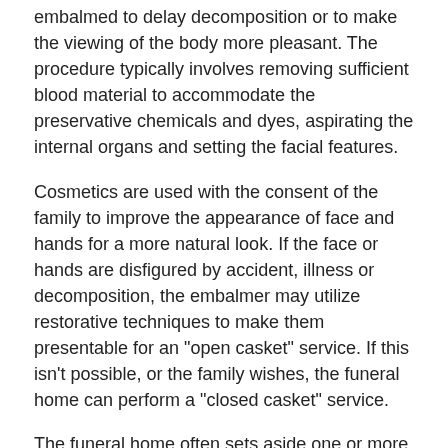embalmed to delay decomposition or to make the viewing of the body more pleasant. The procedure typically involves removing sufficient blood material to accommodate the preservative chemicals and dyes, aspirating the internal organs and setting the facial features.
Cosmetics are used with the consent of the family to improve the appearance of face and hands for a more natural look. If the face or hands are disfigured by accident, illness or decomposition, the embalmer may utilize restorative techniques to make them presentable for an "open casket" service. If this isn't possible, or the family wishes, the funeral home can perform a "closed casket" service.
The funeral home often sets aside one or more large areas for people to gather at a visitation. This area may contain a space to display the body in a casket to visitors who may pay their respects. Funeral and memorial services may also take place at the funeral home. Many funeral homes offer prearrangement options for those who wish to plan their own funerals.